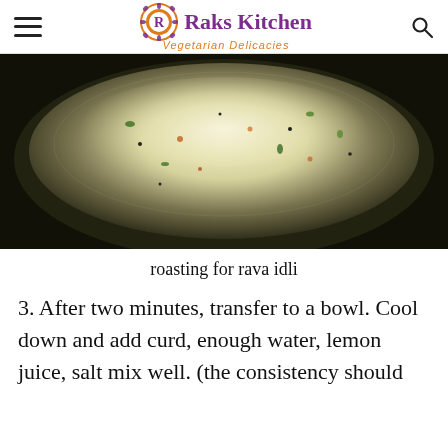Raks Kitchen — Vegetarian Delicacies
[Figure (photo): Close-up overhead view of semolina (rava) roasting in a dark pan with visible green pieces, spices, and a white fluffy texture.]
roasting for rava idli
3. After two minutes, transfer to a bowl. Cool down and add curd, enough water, lemon juice, salt mix well. (the consistency should